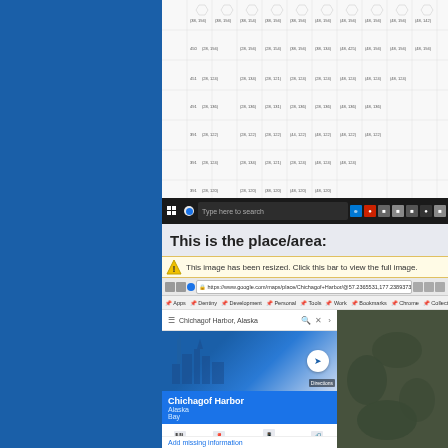[Figure (screenshot): Hexagonal grid map with coordinate labels visible]
[Figure (screenshot): Windows 10 taskbar strip]
This is the place/area:
[Figure (screenshot): Warning bar: This image has been resized. Click this bar to view the full image.]
[Figure (screenshot): Google Maps showing Chichagof Harbor, Alaska with satellite view and info panel]